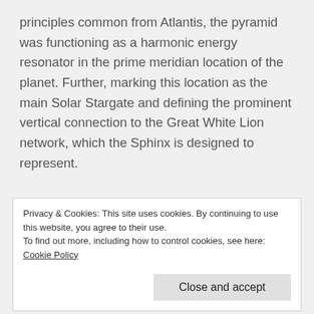principles common from Atlantis, the pyramid was functioning as a harmonic energy resonator in the prime meridian location of the planet. Further, marking this location as the main Solar Stargate and defining the prominent vertical connection to the Great White Lion network, which the Sphinx is designed to represent.
Geodesy was incorporated within many ancient sacred sites and buildings across the world in which
Privacy & Cookies: This site uses cookies. By continuing to use this website, you agree to their use.
To find out more, including how to control cookies, see here: Cookie Policy
minds that challenge the narrative will find